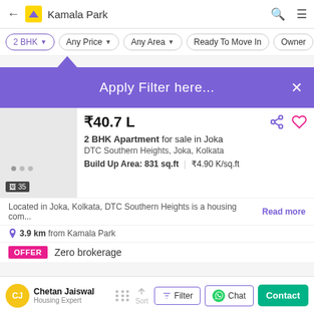← Kamala Park
2 BHK | Any Price | Any Area | Ready To Move In | Owner
[Figure (screenshot): Apply Filter tooltip banner in purple with X close button]
₹40.7 L
2 BHK Apartment for sale in Joka
DTC Southern Heights, Joka, Kolkata
Build Up Area: 831 sq.ft | ₹4.90 K/sq.ft
Located in Joka, Kolkata, DTC Southern Heights is a housing com… Read more
3.9 km from Kamala Park
OFFER  Zero brokerage
Chetan Jaiswal
Housing Expert
Sort | Filter | Chat | Contact